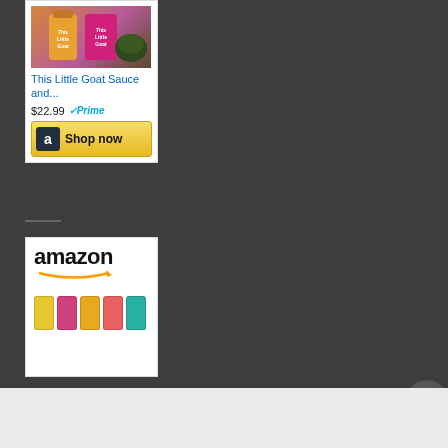[Figure (screenshot): Amazon product listing card for 'This Little Goat Sauce and...' priced at $22.99 with Prime badge and Shop now button]
This Little Goat Sauce and...
$22.99 Prime
[Figure (screenshot): Amazon advertisement banner showing amazon logo and colorful spice jars]
Advertisements
[Figure (screenshot): MAC cosmetics advertisement showing lipsticks and SHOP NOW button]